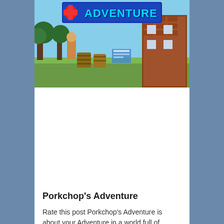[Figure (screenshot): Game banner image for Porkchop's Adventure showing a pixelated/voxel-style outdoor scene with trees, wooden structures and barrels. A banner at the top reads 'ADVENTURE' in cyan block letters on a blue background.]
Porkchop's Adventure
Rate this post Porkchop's Adventure is about your Adventure in a world full of